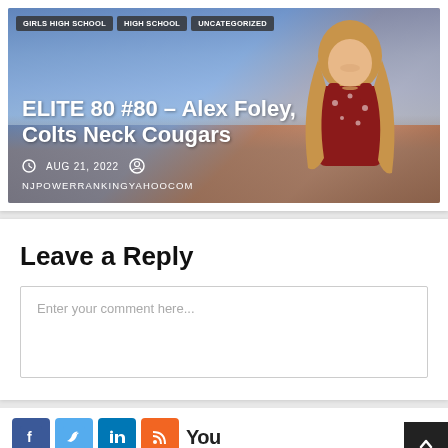[Figure (photo): Article card with photo of a smiling young woman with long hair against a scenic backdrop, with category tags and article title overlaid. Tags: GIRLS HIGH SCHOOL, HIGH SCHOOL, UNCATEGORIZED. Title: ELITE 80 #80 – Alex Foley, Colts Neck Cougars. Date: AUG 21, 2022. Author link: NJPOWERRANKINGYAHOOCOM]
Leave a Reply
Enter your comment here...
[Figure (logo): Social media icons row: Facebook (blue), Twitter (light blue), LinkedIn (dark blue), RSS (orange), YouTube text logo]